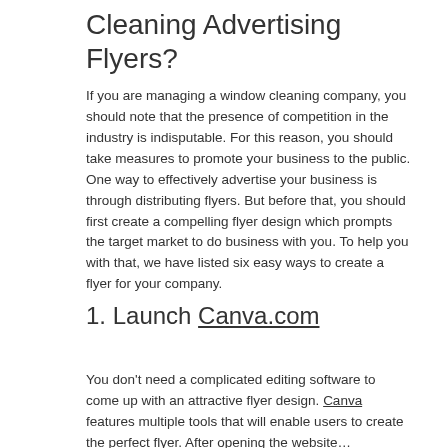Cleaning Advertising Flyers?
If you are managing a window cleaning company, you should note that the presence of competition in the industry is indisputable. For this reason, you should take measures to promote your business to the public. One way to effectively advertise your business is through distributing flyers. But before that, you should first create a compelling flyer design which prompts the target market to do business with you. To help you with that, we have listed six easy ways to create a flyer for your company.
1. Launch Canva.com
You don't need a complicated editing software to come up with an attractive flyer design. Canva features multiple tools that will enable users to create the perfect flyer. After opening the website…